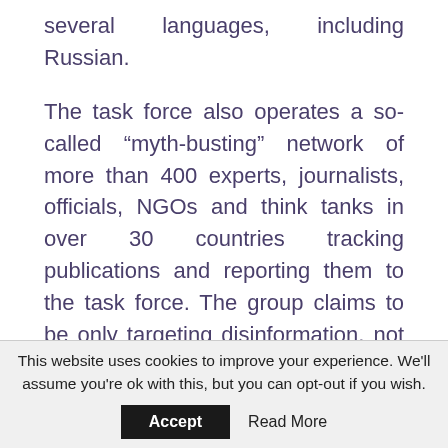several languages, including Russian.
The task force also operates a so-called “myth-busting” network of more than 400 experts, journalists, officials, NGOs and think tanks in over 30 countries tracking publications and reporting them to the task force. The group claims to be only targeting disinformation, not opinions.
The task force “should expose a deliberate lie used to achieve strategic objectives. It is not enough to criticize an ideological illusion. …They should prove that it is a case of willful misrepresentation, in other words, a case of
This website uses cookies to improve your experience. We’ll assume you’re ok with this, but you can opt-out if you wish.
Accept
Read More